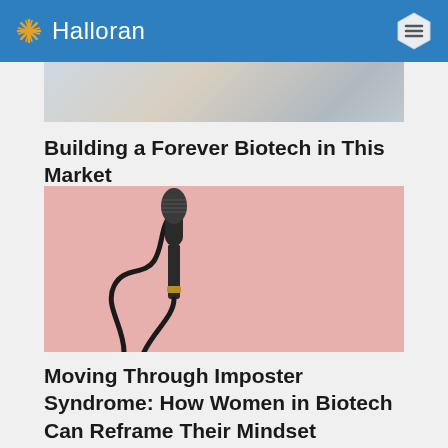Halloran
[Figure (photo): Partial top image showing a workspace or desk scene with light colors]
Building a Forever Biotech in This Market
[Figure (photo): A microphone with a black cord on a pink background]
Moving Through Imposter Syndrome: How Women in Biotech Can Reframe Their Mindset